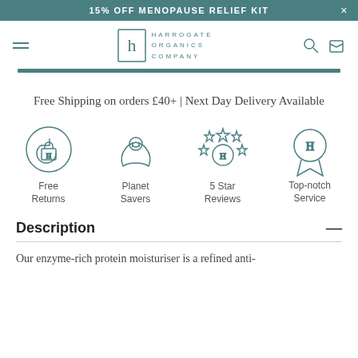15% OFF MENOPAUSE RELIEF KIT
[Figure (logo): Harrogate Organics Company logo with stylized H and company name text]
Free Shipping on orders £40+ | Next Day Delivery Available
[Figure (infographic): Four icons: Free Returns (box with recycle arrows), Planet Savers (hands holding globe), 5 Star Reviews (stars with H badge), Top-notch Service (medal/ribbon with H)]
Description
Our enzyme-rich protein moisturiser is a refined anti-